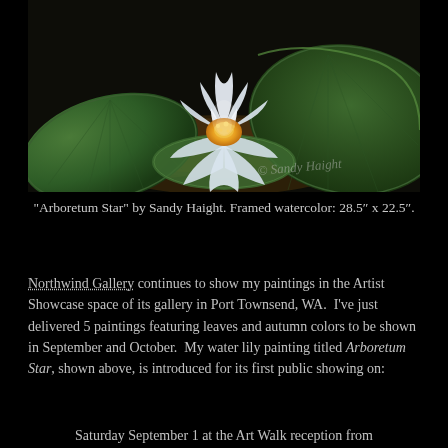[Figure (illustration): A watercolor painting of a white water lily (Arboretum Star) with green lily pads in the background. The flower is centered and luminous against dark water. A watermark reads '© Sandy Haight'.]
“Arboretum Star” by Sandy Haight. Framed watercolor: 28.5″ x 22.5″.
Northwind Gallery continues to show my paintings in the Artist Showcase space of its gallery in Port Townsend, WA. I’ve just delivered 5 paintings featuring leaves and autumn colors to be shown in September and October. My water lily painting titled Arboretum Star, shown above, is introduced for its first public showing on:
Saturday September 1 at the Art Walk reception from